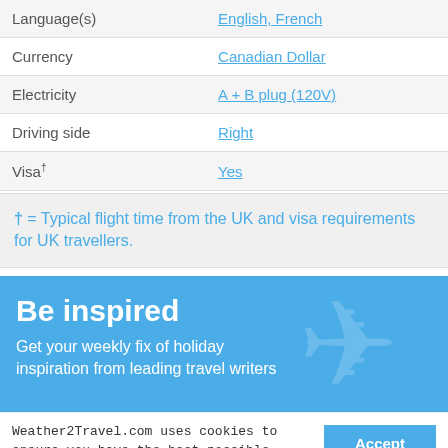|  |  |
| --- | --- |
| Language(s) | English, French |
| Currency | Canadian Dollar |
| Electricity | A + B plug (120V) |
| Driving side | Right |
| Visa† | Yes |
† = Typical flight time from the UK and visa requirements for UK travellers.
Be inspired
Get your weekly fix of holiday inspiration from leading travel writers
Weather2Travel.com uses cookies to ensure you have the best possible experience. By continuing to use this website, you agree to the use of cookies. Read our Privacy & Cookies Policy for more info.